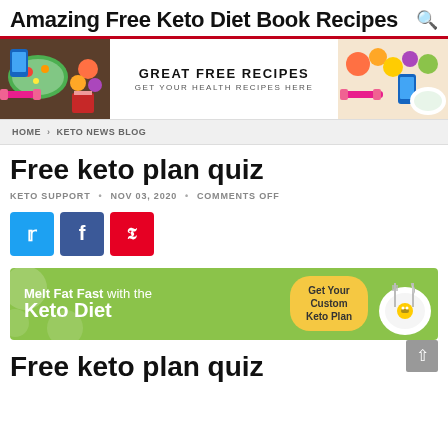Amazing Free Keto Diet Book Recipes
[Figure (photo): Banner with food photos on left and right, center text reading GREAT FREE RECIPES / GET YOUR HEALTH RECIPES HERE]
HOME > KETO NEWS BLOG
Free keto plan quiz
KETO SUPPORT • NOV 03, 2020 • COMMENTS OFF
[Figure (infographic): Social share buttons: Twitter (blue), Facebook (dark blue), Pinterest (red)]
[Figure (infographic): Green banner: Melt Fat Fast with the Keto Diet — Get Your Custom Keto Plan button — plate with fork image]
Free keto plan quiz